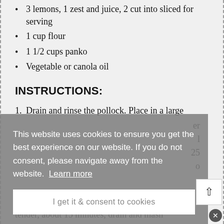3 lemons, 1 zest and juice, 2 cut into sliced for serving
1 cup flour
1 1/2 cups panko
Vegetable or canola oil
INSTRUCTIONS:
1. Drain and rinse the pollock. Place in a large
until tender, about 15 minutes, drain and mash
This website uses cookies to ensure you get the best experience on our website. If you do not consent, please navigate away from the website.  Learn more
I get it & consent to cookies